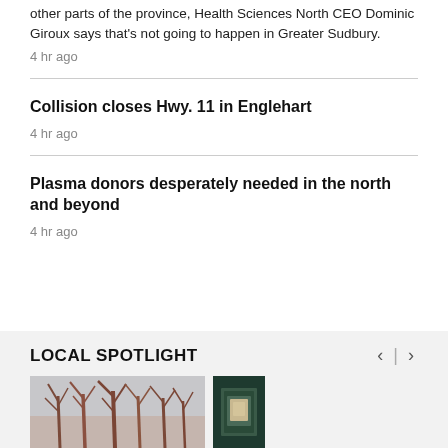other parts of the province, Health Sciences North CEO Dominic Giroux says that's not going to happen in Greater Sudbury.
4 hr ago
Collision closes Hwy. 11 in Englehart
4 hr ago
Plasma donors desperately needed in the north and beyond
4 hr ago
LOCAL SPOTLIGHT
[Figure (photo): Photo of bare winter trees against a light sky]
[Figure (photo): Small photo with dark green background showing a framed item]